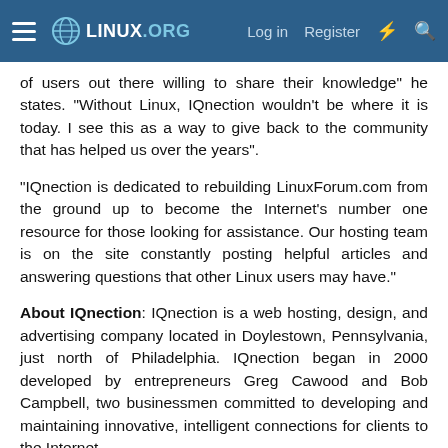LINUX.ORG  Log in  Register
of users out there willing to share their knowledge" he states. “Without Linux, IQnection wouldn’t be where it is today. I see this as a way to give back to the community that has helped us over the years”.
“IQnection is dedicated to rebuilding LinuxForum.com from the ground up to become the Internet's number one resource for those looking for assistance. Our hosting team is on the site constantly posting helpful articles and answering questions that other Linux users may have.”
About IQnection: IQnection is a web hosting, design, and advertising company located in Doylestown, Pennsylvania, just north of Philadelphia. IQnection began in 2000 developed by entrepreneurs Greg Cawood and Bob Campbell, two businessmen committed to developing and maintaining innovative, intelligent connections for clients to the Internet.
Related Links: